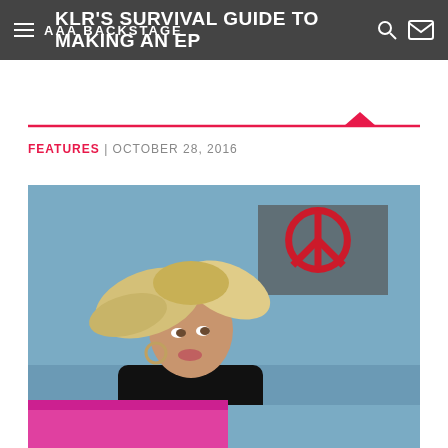AAA BACKSTAGE
KLR'S SURVIVAL GUIDE TO MAKING AN EP
FEATURES | OCTOBER 28, 2016
[Figure (photo): Young blonde woman with windswept hair, wearing black, looking up. Behind her is a red peace-sign heart symbol on a blue wall, and a bright pink/magenta building facade at the bottom.]